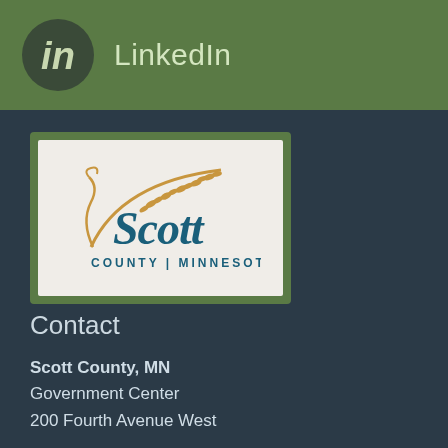LinkedIn
[Figure (logo): Scott County Minnesota logo with golden wheat stalk and teal script text reading 'Scott' with 'COUNTY | MINNESOTA' below]
Contact
Scott County, MN
Government Center
200 Fourth Avenue West